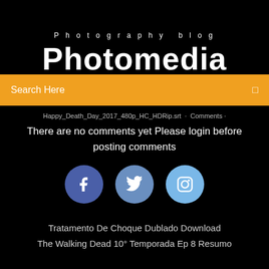Photography blog
Photomedia
Search Here
Happy_Death_Day_2017_480p_HC_HDRip.srt · Comments · There are no comments yet Please login before posting comments
[Figure (illustration): Three social media icon circles: Facebook (dark blue), Twitter (medium blue), Instagram (light blue)]
Tratamento De Choque Dublado Download
The Walking Dead 10° Temporada Ep 8 Resumo